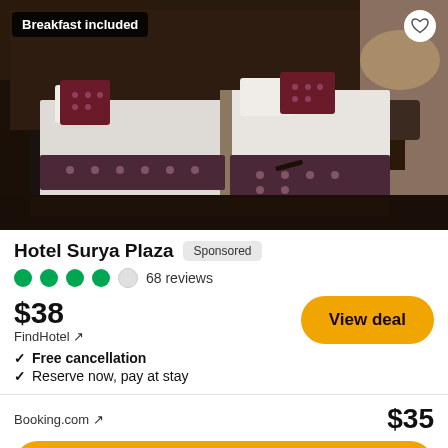[Figure (photo): Hotel room photo showing two beds with dark wood headboard, white linens, burgundy/maroon decorative pillows and bed runner with polka dot pattern, a chair and round table in background, dark wood floor]
Hotel Surya Plaza
Sponsored
68 reviews
$38
FindHotel ↗
View deal
Free cancellation
Reserve now, pay at stay
Booking.com ↗
$35
View deal